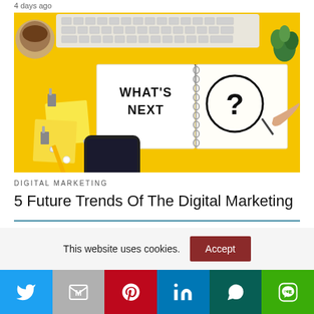4 days ago
[Figure (photo): Yellow desk flatlay with keyboard, glasses, binder clips, pen, smartphone, sticky notes, succulent plant, and an open spiral notebook showing 'WHAT'S NEXT' on one page and a hand drawing a question mark in a circle on the other page.]
DIGITAL MARKETING
5 Future Trends Of The Digital Marketing
This website uses cookies.
Accept